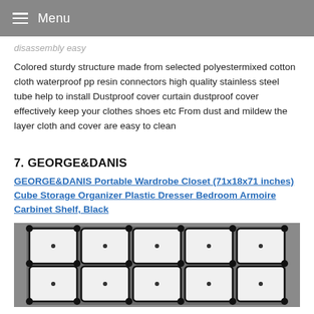Menu
disassembly easy
Colored sturdy structure made from selected polyestermixed cotton cloth waterproof pp resin connectors high quality stainless steel tube help to install Dustproof cover curtain dustproof cover effectively keep your clothes shoes etc From dust and mildew the layer cloth and cover are easy to clean
7. GEORGE&DANIS
GEORGE&DANIS Portable Wardrobe Closet (71x18x71 inches) Cube Storage Organizer Plastic Dresser Bedroom Armoire Carbinet Shelf, Black
[Figure (photo): Photo of a black and white modular cube storage wardrobe closet with multiple cube compartments arranged in a grid pattern]